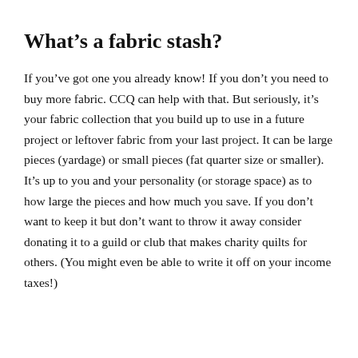What’s a fabric stash?
If you’ve got one you already know! If you don’t you need to buy more fabric. CCQ can help with that. But seriously, it’s your fabric collection that you build up to use in a future project or leftover fabric from your last project. It can be large pieces (yardage) or small pieces (fat quarter size or smaller). It’s up to you and your personality (or storage space) as to how large the pieces and how much you save. If you don’t want to keep it but don’t want to throw it away consider donating it to a guild or club that makes charity quilts for others. (You might even be able to write it off on your income taxes!)